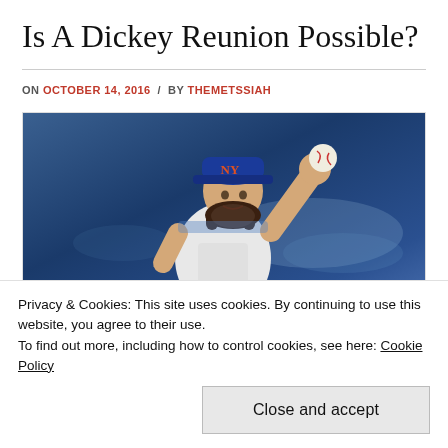Is A Dickey Reunion Possible?
ON OCTOBER 14, 2016 / BY THEMETSSIAH
[Figure (photo): Baseball pitcher in New York Mets uniform and blue cap with NY logo, raising hand with ball in a winding motion. The player has long dark hair and a beard. Background shows blurred blue stadium signage.]
Privacy & Cookies: This site uses cookies. By continuing to use this website, you agree to their use.
To find out more, including how to control cookies, see here: Cookie Policy
Close and accept